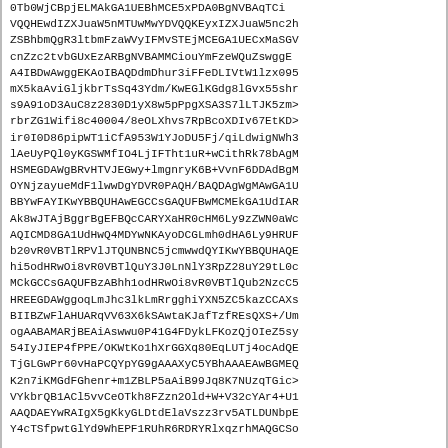0Tb0WjCBpjELMAkGA1UEBhMCE5xPDA0BgNVBAqTCi...
VQQHEwdIZXJuaW5nMTUwMwYDVQQKEyxIZXJuaW5nc2h...
ZSBhbmQgR3ltbmFzaWVyIFMvSTEjMCEGA1UECxMaSGV...
cnZzc2tvbGUxEzARBgNVBAMMCiouYmFzeWQuZswggE...
A4IBDwAwggEKAoIBAQDdmDhur3iFFeDLIVtW1lzx095...
mX5kaAviGljkbrTsSq43Ydm/KwEGlKGdg8lGvx55shr...
s9A91oD3AuC8z2830D1yX8w5pPpgXSA3S7lLTJK5zm>...
rbrZG1Wifi8c40004/8eOLXhvs7RpBcoXDIv67EtKD>...
ir0I0D86pipWT1iCfA953W1YJoDU5Fj/qiLdwigNWh3...
lAeUyPQl0yKGSWMfIO4LjIFTht1uR+wCithRk78bAgM...
HSMEGDAWgBRvHTVJEGwy+lmgnryK6B+VvnF6DDAdBgM...
OYNjzayueMdF1lwwDgYDVR0PAQH/BAQDAgWgMAwGA1U...
BBYwFAYIKwYBBQUHAwEGCCsGAQUFBwMCMEkGA1UdIAR...
Ak8wJTAjBggrBgEFBQcCARYXaHR0cHM6Ly9zZWN0aWc...
AQICMD8GA1UdHwQ4MDYwNKAyoDCGLmh0dHA6Ly9HRUF...
b20vR0VBTlRPVlJTQUNBNC5jcmwwdQYIKwYBBQUHAQE...
hi5odHRwOi8vR0VBTlQuY3J0LnNlY3RpZ28uY29tL0c...
MCkGCCsGAQUFBzABhh1odHRwOi8vR0VBTlQub2NzcC5...
HREEGDAWggoqLmJhc3lkLmRrgghiYXN5ZC5kazCCAXs...
BIIBZwFlAHUARqVV63X6kSAwtaKJafTzfREsQXS+/Um...
ogAABAMARjBEAiAswwu0P41G4FDykLFKozQjOIeZ5sy...
54IyJIEP4fPPE/OKWtKo1hXrGGXq80EqLUTj4ocAdQE...
TjGLGwPr60vHaPCQYpYG9gAAAXyC5YBhAAAEAwBGMEQ...
K2n7iKMGdFGhenr+m1ZBLP5aAiB99Jq8K7NUzqTGic>...
VYkbrQB1ACl5vvCeOTkh8FZzn2Old+W+V32cYAr4+U1...
AAQDAEYwRAIgX5gKkyGLDtdElaVszz3rv5ATLDUNbpE...
Y4cTSfpwtGlYd9WhEPF1RUhR6RDRYRlxqzrhMAQGCSo...